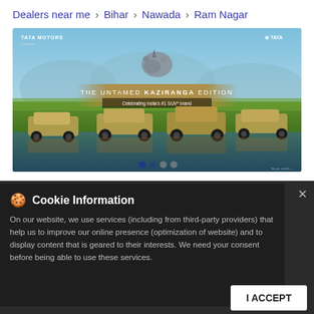Dealers near me > Bihar > Nawada > Ram Nagar
[Figure (photo): Tata Motors Cars advertisement banner showing 'The Untamed Kaziranga Edition' with multiple Tata SUVs parked in a wildlife savanna setting with a rhinoceros in the background. Text: THE UNTAMED KAZIRANGA EDITION, Celebrating India's #1 SUV* brand.]
Tata Motors Cars Showroom - Kusumnath Automobiles, Nawada
Address : Ground Floor
Nawada - 805110
Landmark : Near Sankat Mochan Mandir
Mobile No. : +917358715973
Cookie Information
On our website, we use services (including from third-party providers) that help us to improve our online presence (optimization of website) and to display content that is geared to their interests. We need your consent before being able to use these services.
I ACCEPT